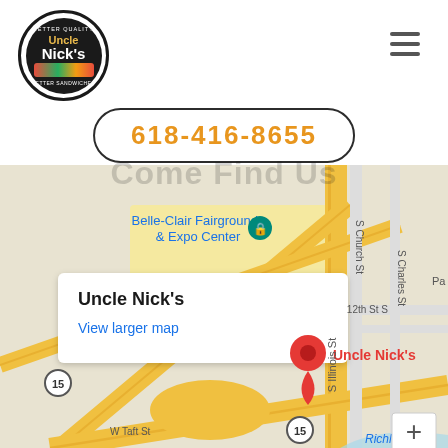[Figure (logo): Uncle Nick's sandwich restaurant logo — circular black badge with 'UNCLE NICK'S' text and colorful sandwich graphic]
618-416-8655
[Figure (map): Google Maps screenshot showing Uncle Nick's location near Belle-Clair Fairgrounds & Expo Center in Belleville, IL, with red map pin marker, S Illinois St, S Church St, S Charles St, 12th St S, W Taft St, Belleville Wastewater Treatment Facility, route 15 markers, and Richland road visible]